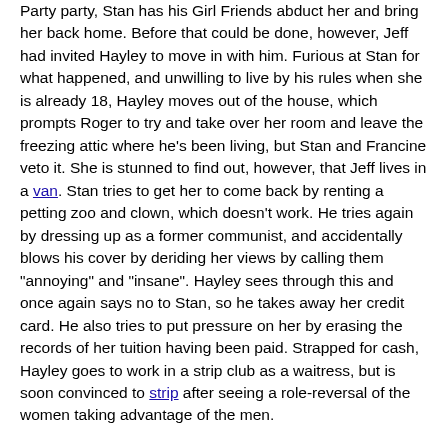Party party, Stan has his Girl Friends abduct her and bring her back home. Before that could be done, however, Jeff had invited Hayley to move in with him. Furious at Stan for what happened, and unwilling to live by his rules when she is already 18, Hayley moves out of the house, which prompts Roger to try and take over her room and leave the freezing attic where he's been living, but Stan and Francine veto it. She is stunned to find out, however, that Jeff lives in a van. Stan tries to get her to come back by renting a petting zoo and clown, which doesn't work. He tries again by dressing up as a former communist, and accidentally blows his cover by deriding her views by calling them "annoying" and "insane". Hayley sees through this and once again says no to Stan, so he takes away her credit card. He also tries to put pressure on her by erasing the records of her tuition having been paid. Strapped for cash, Hayley goes to work in a strip club as a waitress, but is soon convinced to strip after seeing a role-reversal of the women taking advantage of the men.
Out to celebrate a colleague's first assassination, Stan and his friends go to Hayley's club, where he is appalled to see her dancing topless on stage. He then roughs up her boyfriend, thinking that he had put her up to it, but finds out that she had been lying to him,